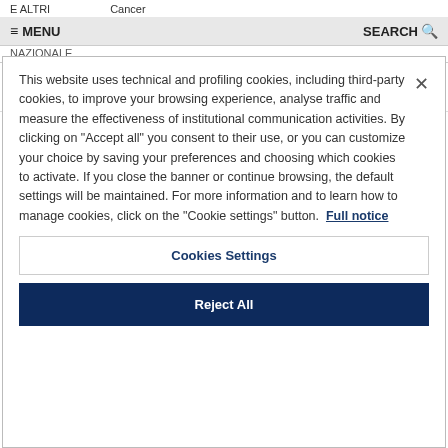E ALTRI   Cancer
≡ MENU   SEARCH 🔍
NAZIONALE
|  |  |  | Closed | 2011 |
| --- | --- | --- | --- | --- |
| CAR_RIC - BANDI FONDAZIONE | Targeting Pro-Survival Features Of Tumor Cells By | DIEGO RODOLFO COLOMBO | Closed | 2011 |
This website uses technical and profiling cookies, including third-party cookies, to improve your browsing experience, analyse traffic and measure the effectiveness of institutional communication activities. By clicking on "Accept all" you consent to their use, or you can customize your choice by saving your preferences and choosing which cookies to activate. If you close the banner or continue browsing, the default settings will be maintained. For more information and to learn how to manage cookies, click on the "Cookie settings" button. Full notice
Cookies Settings
Reject All